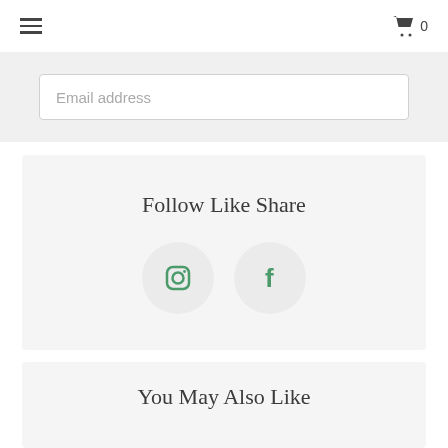≡   🛒 0
Email address
Follow Like Share
[Figure (logo): Instagram logo circle icon in green]
[Figure (logo): Facebook logo circle icon in green]
You May Also Like